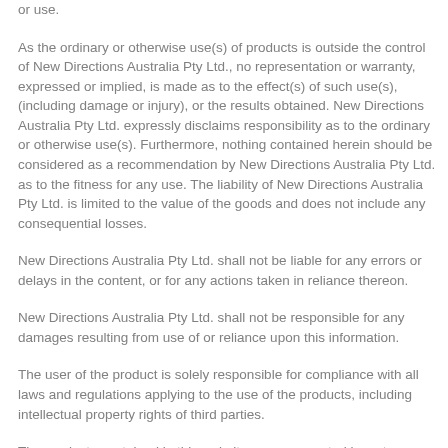or use.
As the ordinary or otherwise use(s) of products is outside the control of New Directions Australia Pty Ltd., no representation or warranty, expressed or implied, is made as to the effect(s) of such use(s), (including damage or injury), or the results obtained. New Directions Australia Pty Ltd. expressly disclaims responsibility as to the ordinary or otherwise use(s). Furthermore, nothing contained herein should be considered as a recommendation by New Directions Australia Pty Ltd. as to the fitness for any use. The liability of New Directions Australia Pty Ltd. is limited to the value of the goods and does not include any consequential losses.
New Directions Australia Pty Ltd. shall not be liable for any errors or delays in the content, or for any actions taken in reliance thereon.
New Directions Australia Pty Ltd. shall not be responsible for any damages resulting from use of or reliance upon this information.
The user of the product is solely responsible for compliance with all laws and regulations applying to the use of the products, including intellectual property rights of third parties.
The products contained in this website are represented in as true a